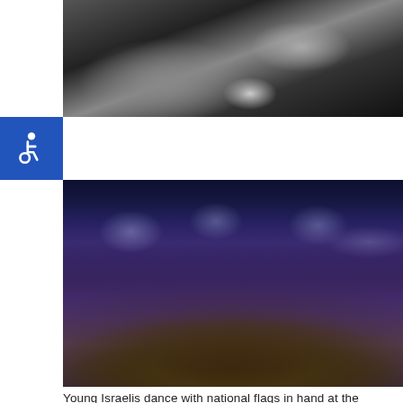[Figure (photo): Black and white photograph showing hands holding a net or mesh object, cropped at top]
[Figure (photo): Color photograph of young Israelis dancing with Israeli national flags at the Western Wall in Jerusalem at night, crowd scene with blue sky and stone wall in background]
Young Israelis dance with national flags in hand at the Western Wall, Judaism's holiest site, in Jerusalem's Old City during celebrations on May 21, 2009 of Jerusalem Day which marks the anniversary